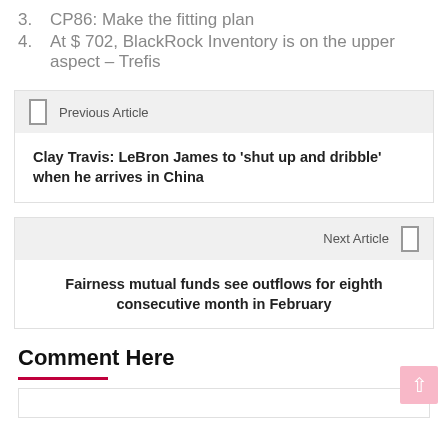3. CP86: Make the fitting plan
4. At $ 702, BlackRock Inventory is on the upper aspect – Trefis
Previous Article
Clay Travis: LeBron James to ‘shut up and dribble’ when he arrives in China
Next Article
Fairness mutual funds see outflows for eighth consecutive month in February
Comment Here